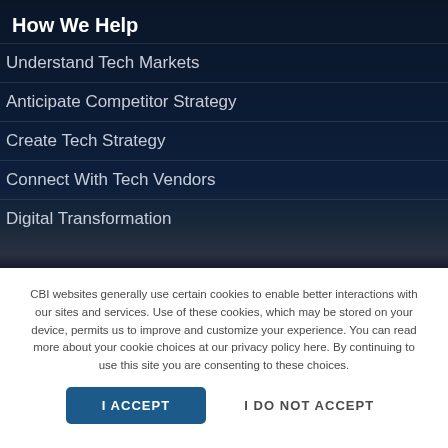How We Help
Understand Tech Markets
Anticipate Competitor Strategy
Create Tech Strategy
Connect With Tech Vendors
Digital Transformation
CBI websites generally use certain cookies to enable better interactions with our sites and services. Use of these cookies, which may be stored on your device, permits us to improve and customize your experience. You can read more about your cookie choices at our privacy policy here. By continuing to use this site you are consenting to these choices.
I ACCEPT
I DO NOT ACCEPT